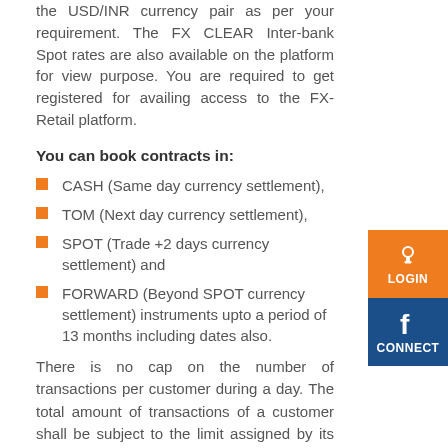the USD/INR currency pair as per your requirement. The FX CLEAR Inter-bank Spot rates are also available on the platform for view purpose. You are required to get registered for availing access to the FX-Retail platform.
You can book contracts in:
CASH (Same day currency settlement),
TOM (Next day currency settlement),
SPOT (Trade +2 days currency settlement) and
FORWARD (Beyond SPOT currency settlement) instruments upto a period of 13 months including dates also.
There is no cap on the number of transactions per customer during a day. The total amount of transactions of a customer shall be subject to the limit assigned by its bank.